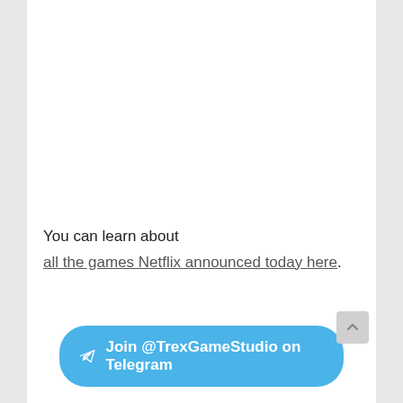You can learn about all the games Netflix announced today here.
[Figure (other): Blue rounded button with Telegram paper plane icon and text: Join @TrexGameStudio on Telegram]